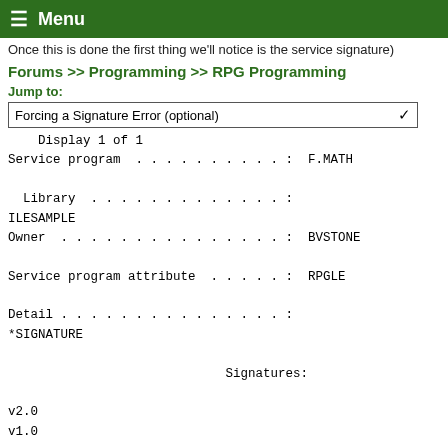Once this is done the first thing we'll notice is the service signature)
Menu
signature)
Forums >> Programming >> RPG Programming
Jump to:
Forcing a Signature Error (optional)
Display 1 of 1
Service program . . . . . . . . . . . : F.MATH
  Library . . . . . . . . . . . . . . : ILESAMPLE
Owner . . . . . . . . . . . . . . . . : BVSTONE
Service program attribute . . . . . . . : RPGLE
Detail . . . . . . . . . . . . . . . . :
*SIGNATURE
                            Signatures:

v2.0
v1.0